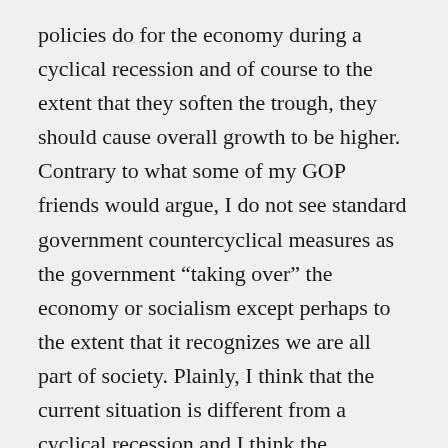policies do for the economy during a cyclical recession and of course to the extent that they soften the trough, they should cause overall growth to be higher. Contrary to what some of my GOP friends would argue, I do not see standard government countercyclical measures as the government “taking over” the economy or socialism except perhaps to the extent that it recognizes we are all part of society. Plainly, I think that the current situation is different from a cyclical recession and I think the government has acted correctly in enacting stimulus measures, cutting taxes, increasing safety nets and keeping interest rates at near zero. Obviously, there are limits to government intervention of this sort unless we do agree to change from our primarily private economic system and I do not believe that these policies can